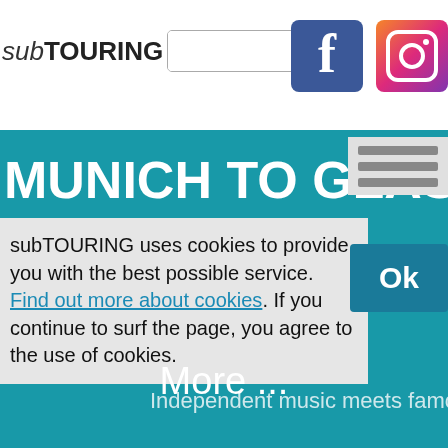subTOURING [search bar] [Facebook icon] [Instagram icon]
MUNICH TO GLASTONBU...
subTOURING uses cookies to provide you with the best possible service. Find out more about cookies. If you continue to surf the page, you agree to the use of cookies.
Independent music meets famo...
More ...